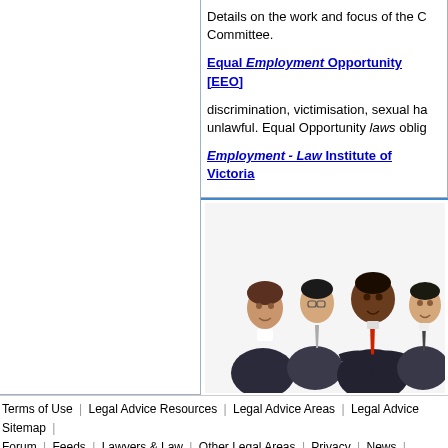Details on the work and focus of the C... Committee.
Equal Employment Opportunity [EEO]
discrimination, victimisation, sexual ha... unlawful. Equal Opportunity laws oblig...
Employment - Law Institute of Victoria...
[Figure (photo): Group of four professionals in business attire posing together]
Terms of Use | Legal Advice Resources | Legal Advice Areas | Legal Advice Sitemap | Forum | Feeds | Lawyers & Law | Other Legal Areas | Privacy | News | Search |
Disclaimer: there are advertising laws affecting personal injury claims. By using this site you agree to